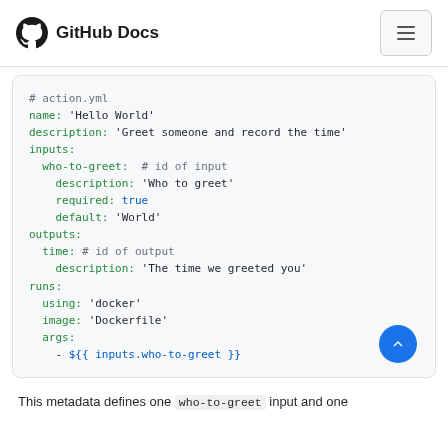GitHub Docs
# action.yml
name: 'Hello World'
description: 'Greet someone and record the time'
inputs:
  who-to-greet:  # id of input
    description: 'Who to greet'
    required: true
    default: 'World'
outputs:
  time: # id of output
    description: 'The time we greeted you'
runs:
  using: 'docker'
  image: 'Dockerfile'
  args:
    - ${{ inputs.who-to-greet }}
This metadata defines one who-to-greet input and one